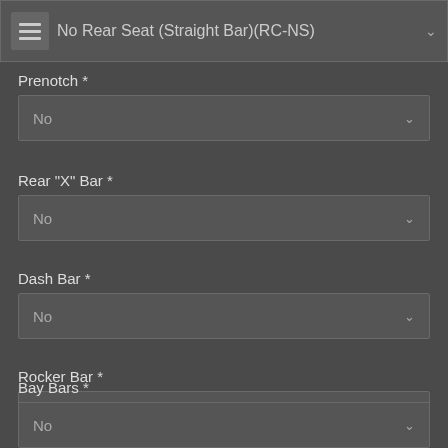No Rear Seat (Straight Bar)(RC-NS)
Prenotch *
No
Rear "X" Bar *
No
Dash Bar *
No
Rocker Bar *
No
Bay Bars *
No